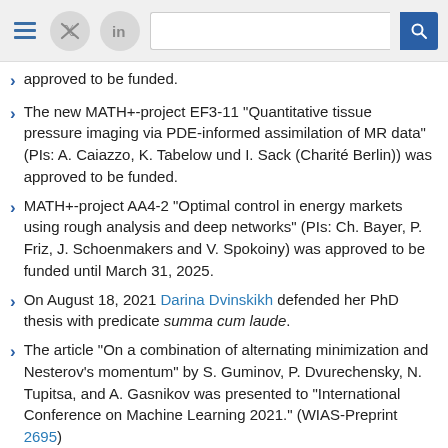Navigation header with menu, Twitter, LinkedIn icons and search bar
approved to be funded.
The new MATH+-project EF3-11 "Quantitative tissue pressure imaging via PDE-informed assimilation of MR data" (PIs: A. Caiazzo, K. Tabelow und I. Sack (Charité Berlin)) was approved to be funded.
MATH+-project AA4-2 "Optimal control in energy markets using rough analysis and deep networks" (PIs: Ch. Bayer, P. Friz, J. Schoenmakers and V. Spokoiny) was approved to be funded until March 31, 2025.
On August 18, 2021 Darina Dvinskikh defended her PhD thesis with predicate summa cum laude.
The article "On a combination of alternating minimization and Nesterov's momentum" by S. Guminov, P. Dvurechensky, N. Tupitsa, and A. Gasnikov was presented to "International Conference on Machine Learning 2021." (WIAS-Preprint 2695)
The article "Newton method over networks is fast up to the statistical precision" by A. Daneshmand, G. Scutari, P. Dvurechensky, and A. Gasnikov) was presented to "International Conference on Machine Learning 2021."
The paper "Statistical inference for Bures-Wasserstein...